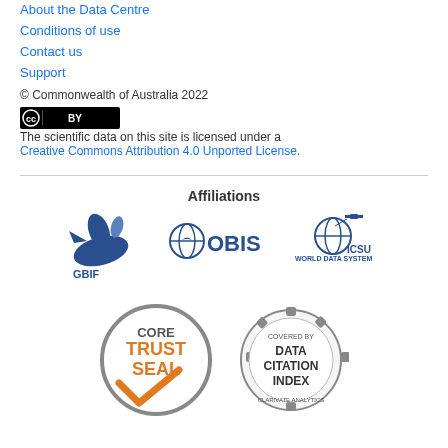About the Data Centre
Conditions of use
Contact us
Support
© Commonwealth of Australia 2022
[Figure (logo): Creative Commons BY license badge (black rectangle with CC and BY symbols)]
The scientific data on this site is licensed under a Creative Commons Attribution 4.0 Unported License.
Affiliations
[Figure (logo): GBIF logo - blue stylized plant/bird graphic with GBIF text]
[Figure (logo): OBIS logo - globe with OBIS text]
[Figure (logo): ICSU World Data System logo - globe with satellite and WORLD DATA SYSTEM text]
[Figure (logo): CoreTrustSeal logo - circular gray border with orange CORE TRUST SEAL text and orange checkmark]
[Figure (logo): Data Citation Index - covered by badge, circular gear shape, dark gray and white, Clarivate Analytics]